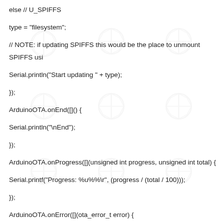else // U_SPIFFS

type = "filesystem";

// NOTE: if updating SPIFFS this would be the place to unmount SPIFFS using

Serial.println("Start updating " + type);

});

ArduinoOTA.onEnd([]() {

Serial.println("\nEnd");

});

ArduinoOTA.onProgress([](unsigned int progress, unsigned int total) {

Serial.printf("Progress: %u%%\r", (progress / (total / 100)));

});

ArduinoOTA.onError([](ota_error_t error) {

Serial.printf("Error[%u]: ", error);